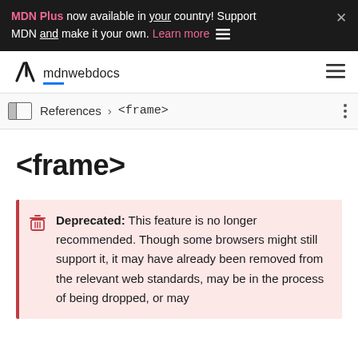MDN Plus now available in your country! Support MDN and make it your own. Learn more
mdn web docs
References > <frame>
<frame>
Deprecated: This feature is no longer recommended. Though some browsers might still support it, it may have already been removed from the relevant web standards, may be in the process of being dropped, or may